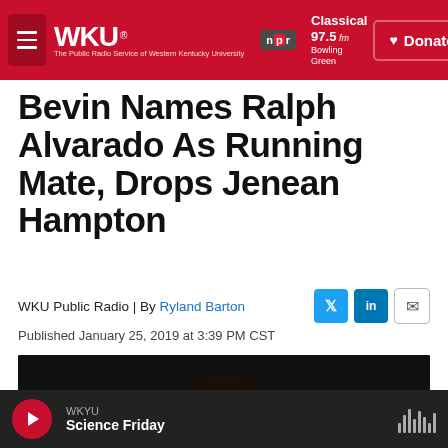WKU | npr | Classical 97.5 fm Bowling Green — The Public Radio Service of Western Kentucky University | Donate
Bevin Names Ralph Alvarado As Running Mate, Drops Jenean Hampton
WKU Public Radio | By Ryland Barton
Published January 25, 2019 at 3:39 PM CST
[Figure (photo): Close-up photo of a man's face, dark background]
WKYU
Science Friday